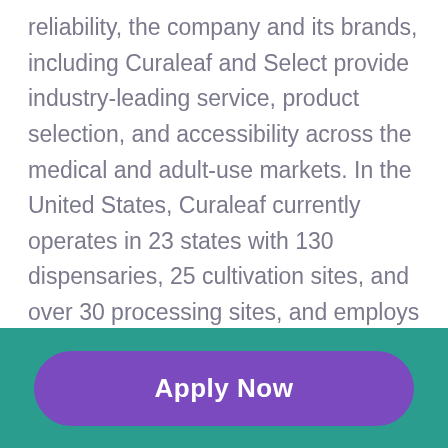reliability, the company and its brands, including Curaleaf and Select provide industry-leading service, product selection, and accessibility across the medical and adult-use markets. In the United States, Curaleaf currently operates in 23 states with 130 dispensaries, 25 cultivation sites, and over 30 processing sites, and employs over 5,000 team members. Curaleaf International is the leading vertically integrated cannabis company in Europe with a unique supply and distribution network throughout the European market, bringing together pioneering science and research with cutting-edge cultivation, extraction,
Apply Now